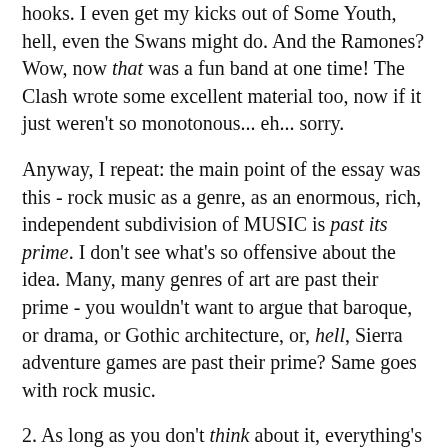hooks. I even get my kicks out of Some Youth, hell, even the Swans might do. And the Ramones? Wow, now that was a fun band at one time! The Clash wrote some excellent material too, now if it just weren't so monotonous... eh... sorry.
Anyway, I repeat: the main point of the essay was this - rock music as a genre, as an enormous, rich, independent subdivision of MUSIC is past its prime. I don't see what's so offensive about the idea. Many, many genres of art are past their prime - you wouldn't want to argue that baroque, or drama, or Gothic architecture, or, hell, Sierra adventure games are past their prime? Same goes with rock music.
2. As long as you don't think about it, everything's all right, because with a little luck, one can find lots of good bands today; my difference is that I was trying to take a little peep into the world of tomorrow, when all these bands that we consider good today will wither and die out (because their only use was to provide some immediate entertainment), and the bands that were more original and broke new ground, both in the technical and philosophical and emotional sense, will survive.